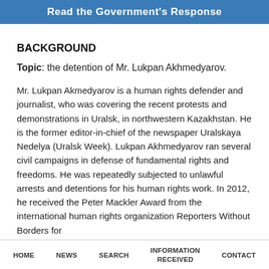[Figure (other): Blue banner button with text 'Read the Government's Response']
BACKGROUND
Topic: the detention of Mr. Lukpan Akhmedyarov.
Mr. Lukpan Akmedyarov is a human rights defender and journalist, who was covering the recent protests and demonstrations in Uralsk, in northwestern Kazakhstan. He is the former editor-in-chief of the newspaper Uralskaya Nedelya (Uralsk Week). Lukpan Akhmedyarov ran several civil campaigns in defense of fundamental rights and freedoms. He was repeatedly subjected to unlawful arrests and detentions for his human rights work. In 2012, he received the Peter Mackler Award from the international human rights organization Reporters Without Borders for
HOME   NEWS   SEARCH   INFORMATION RECEIVED   CONTACT